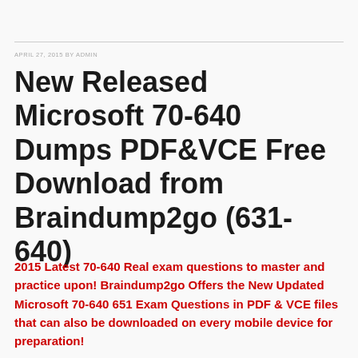APRIL 27, 2015 BY ADMIN
New Released Microsoft 70-640 Dumps PDF&VCE Free Download from Braindump2go (631-640)
2015 Latest 70-640 Real exam questions to master and practice upon! Braindump2go Offers the New Updated Microsoft 70-640 651 Exam Questions in PDF & VCE files that can also be downloaded on every mobile device for preparation!